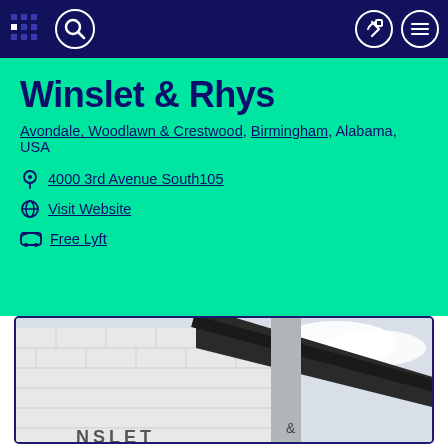Navigation bar with search, share, and menu icons
Winslet & Rhys
Avondale, Woodlawn & Crestwood, Birmingham, Alabama, USA
4000 3rd Avenue South105
Visit Website
Free Lyft
[Figure (photo): Exterior photo of a white brick building with black roof overhang showing partial text 'NSLET' on the signage, photographed from below against a cloudy sky]